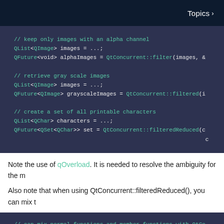Topics >
[Figure (screenshot): Dark blue code block showing Qt Concurrent filter examples with C++ code snippets including QList<QImage>, QFuture<void>, QFuture<QImage>, QFuture<QSet<QChar>> declarations and Qt Concurrent filter/filtered/filteredReduced calls]
Note the use of qOverload. It is needed to resolve the ambiguity for the m
Also note that when using QtConcurrent::filteredReduced(), you can mix t
[Figure (screenshot): Dark blue code block showing comment: // can mix normal functions and member functions with QtCo]